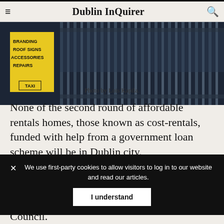Dublin InQuirer
[Figure (photo): Dark photo of metal gates/fence, with yellow sign visible on left showing 'BRANDING, ROOFSIGNS, ACCESSORIES, REPAIRS' and a taxi sign. Urban street scene.]
Photo by Lois Kapila.
None of the second round of affordable rentals homes, those known as cost-rentals, funded with help from a government loan scheme will be in Dublin city.
None of the first were either.
“It’s very worrying in the context of Dublin City Council,” says Social Democrats TD and housing spokesperson
homes, said recent research for Dublin City Council.
We use first-party cookies to allow visitors to log in to our website and read our articles.